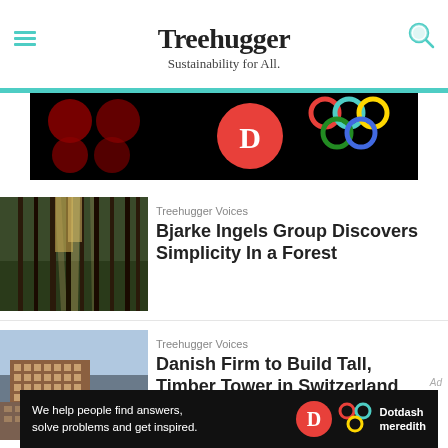Treehugger — Sustainability for All.
[Figure (photo): Advertisement banner with dark background showing colorful circles/dots and Olympic-style ring logo on the right]
[Figure (photo): Forest photo showing tall pine trees with light filtering through]
Treehugger Voices
Bjarke Ingels Group Discovers Simplicity In a Forest
[Figure (photo): Photo of a tall modern timber/brick building in an urban setting]
Treehugger Voices
Danish Firm to Build Tall, Timber Tower in Switzerland
[Figure (photo): Bottom advertisement banner: We help people find answers, solve problems and get inspired. Dotdash Meredith logo.]